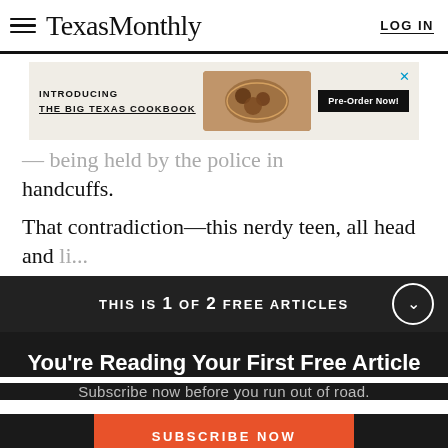Texas Monthly — LOG IN
[Figure (screenshot): Advertisement banner for 'Introducing The Big Texas Cookbook' with food image and 'Pre-Order Now!' button]
...being held by the police in handcuffs.
That contradiction—this nerdy teen, all head and li...
THIS IS 1 OF 2 FREE ARTICLES
You're Reading Your First Free Article
Subscribe now before you run out of road.
SUBSCRIBE NOW
Already a subscriber? Log in